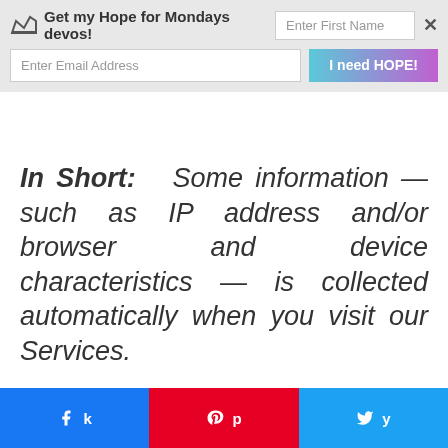[Figure (screenshot): Email newsletter signup banner with crown icon, 'Get my Hope for Mondays devos!' text, first name input, email input, 'I need HOPE!' button, and close X button]
In Short: Some information — such as IP address and/or browser and device characteristics — is collected automatically when you visit our Services.
We automatically collect certain information when you visit, use or navigate the Services. This
[Figure (screenshot): Social share bar with Facebook, Pinterest, and Twitter share buttons]